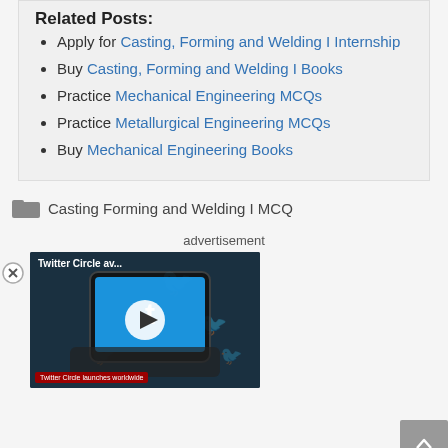Related Posts:
Apply for Casting, Forming and Welding I Internship
Buy Casting, Forming and Welding I Books
Practice Mechanical Engineering MCQs
Practice Metallurgical Engineering MCQs
Buy Mechanical Engineering Books
Casting Forming and Welding I MCQ
advertisement
[Figure (screenshot): Twitter Circle video thumbnail with play button, title 'Twitter Circle av...' and caption 'Twitter Circle launches worldwide']